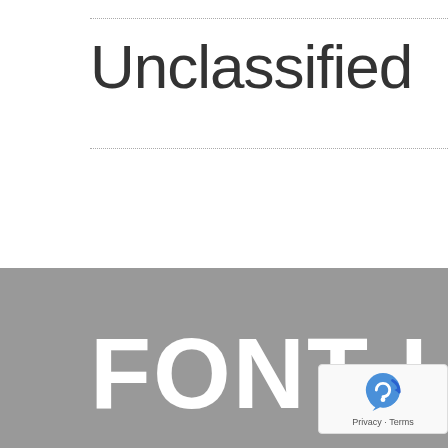Unclassified
FONT LISTS
[Figure (logo): reCAPTCHA badge with Google logo and Privacy - Terms text]